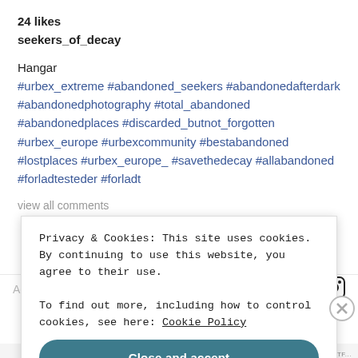24 likes
seekers_of_decay
Hangar
#urbex_extreme #abandoned_seekers #abandonedafterdark #abandonedphotography #total_abandoned #abandonedplaces #discarded_butnot_forgotten #urbex_europe #urbexcommunity #bestabandoned #lostplaces #urbex_europe_ #savethedecay #allabandoned #forladtesteder #forladt
view all comments
Add a comment
Privacy & Cookies: This site uses cookies. By continuing to use this website, you agree to their use.
To find out more, including how to control cookies, see here: Cookie Policy
Close and accept